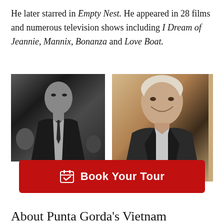He later starred in Empty Nest. He appeared in 28 films and numerous television shows including I Dream of Jeannie, Mannix, Bonanza and Love Boat.
[Figure (photo): Black and white photo of a young man in a suit and tie, seated in what appears to be a courtroom or auditorium setting]
[Figure (photo): Black and white portrait photo of an older man with gray hair, smiling, wearing a vest over a light shirt]
Book Your Tour
About Punta Gorda's Vietnam